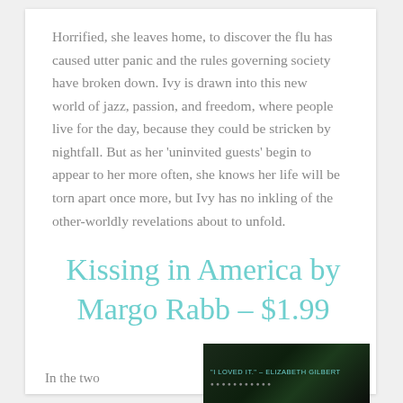Horrified, she leaves home, to discover the flu has caused utter panic and the rules governing society have broken down. Ivy is drawn into this new world of jazz, passion, and freedom, where people live for the day, because they could be stricken by nightfall. But as her 'uninvited guests' begin to appear to her more often, she knows her life will be torn apart once more, but Ivy has no inkling of the other-worldly revelations about to unfold.
Kissing in America by Margo Rabb – $1.99
In the two
[Figure (photo): Book cover image with dark green background showing quote text 'I LOVED IT.' – ELIZABETH GILBERT in teal/cyan lettering]